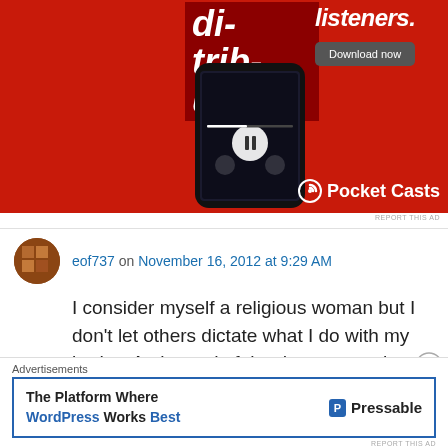[Figure (photo): Pocket Casts podcast app advertisement on red background showing a smartphone with the app open, text 'distributed', 'listeners.', and a 'Download now' button with Pocket Casts logo.]
REPORT THIS AD
eof737 on November 16, 2012 at 9:29 AM
I consider myself a religious woman but I don't let others dictate what I do with my body... At the end of the day, women have to decide what's best for them as individuals first...
Advertisements
[Figure (screenshot): Pressable ad: 'The Platform Where WordPress Works Best' with Pressable logo]
REPORT THIS AD